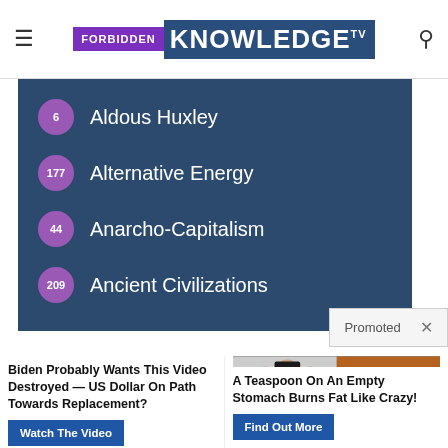Forbidden Knowledge TV
6 Aldous Huxley
177 Alternative Energy
44 Anarcho-Capitalism
209 Ancient Civilizations
[Figure (photo): Group of people in suits at CIA headquarters with a red circle highlighting one person and a video play button overlay]
Biden Probably Wants This Video Destroyed — US Dollar On Path Towards Replacement?
Watch The Video
[Figure (photo): Split image of a woman with abs and a spoon with spice/powder]
A Teaspoon On An Empty Stomach Burns Fat Like Crazy!
Find Out More
Promoted ×